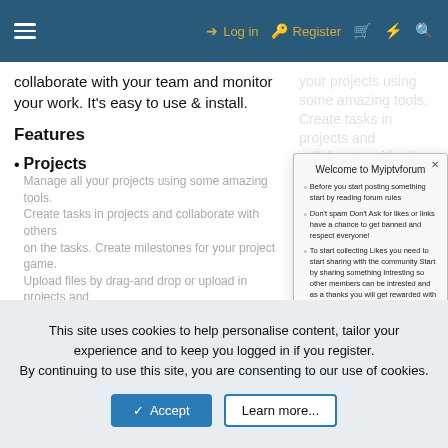≡  Log in  Register  🛒  ⚡  🔍
collaborate with your team and monitor your work. It's easy to use & install.
Features
Projects
Manage all your projects using some amazing tools. Create tasks in projects and collaborate with others on the tasks. Create milestones for your project game. Upload files by drag-and drop or upload in projects and discuss with your colleagues. compare differences.
[Figure (screenshot): Modal dialog box titled 'Welcome to Myiptvforum' with bullet points about forum rules, spam policy, likes/sharing system with Read more link, and making money by sharing. Last bullet highlighted in blue background.]
This site uses cookies to help personalise content, tailor your experience and to keep you logged in if you register.
By continuing to use this site, you are consenting to our use of cookies.
✓ Accept    Learn more...